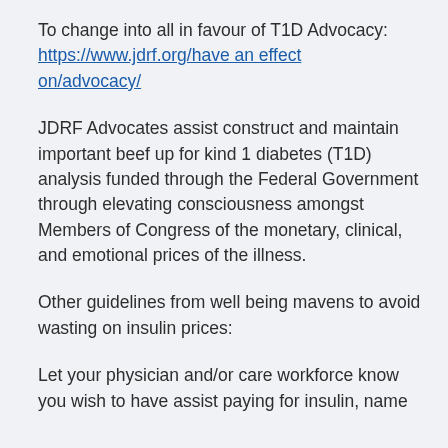To change into all in favour of T1D Advocacy: https://www.jdrf.org/have an effect on/advocacy/
JDRF Advocates assist construct and maintain important beef up for kind 1 diabetes (T1D) analysis funded through the Federal Government through elevating consciousness amongst Members of Congress of the monetary, clinical, and emotional prices of the illness.
Other guidelines from well being mavens to avoid wasting on insulin prices:
Let your physician and/or care workforce know you wish to have assist paying for insulin, name